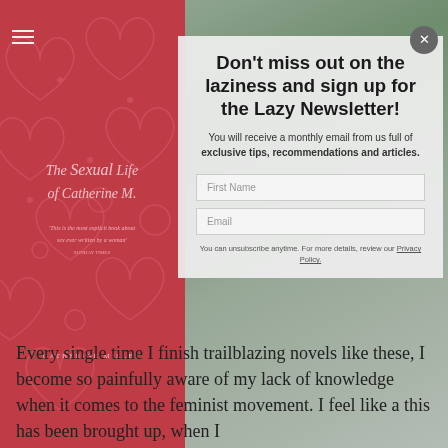[Figure (screenshot): A website screenshot showing a popup newsletter signup modal overlaid on a blog page. The background shows a book cover for 'The Sexual Life of Catherine M.' by Catherine Millet on the left, and a photo of a woman in a dark top on the right. The modal contains a headline, description text, form fields for First Name and Email, and fine print about unsubscribing.]
Don't miss out on the laziness and sign up for the Lazy Newsletter!
You will receive a monthly email from us full of exclusive tips, recommendations and articles.
Every single time I finish trailblazing novels like these, I become so painfully aware of my lack of knowledge when it comes to the feminist movement. I feel like a this has been brought up, when I
You can unsubscribe anytime. For more details, review our Privacy Policy.